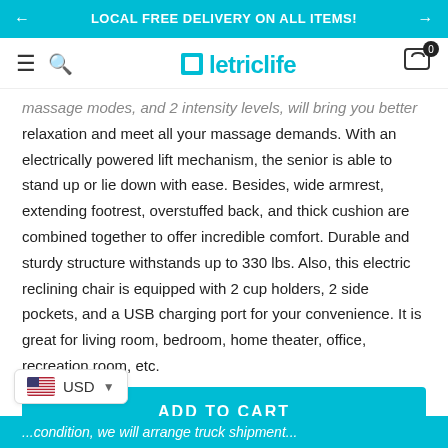LOCAL FREE DELIVERY ON ALL ITEMS!
[Figure (logo): Eletriclife logo with cyan square icon and text]
massage modes, and 2 intensity levels, will bring you better relaxation and meet all your massage demands. With an electrically powered lift mechanism, the senior is able to stand up or lie down with ease. Besides, wide armrest, extending footrest, overstuffed back, and thick cushion are combined together to offer incredible comfort. Durable and sturdy structure withstands up to 330 lbs. Also, this electric reclining chair is equipped with 2 cup holders, 2 side pockets, and a USB charging port for your convenience. It is great for living room, bedroom, home theater, office, recreation room, etc.
ADD TO CART
USD
...condition, we will arrange truck shipment...